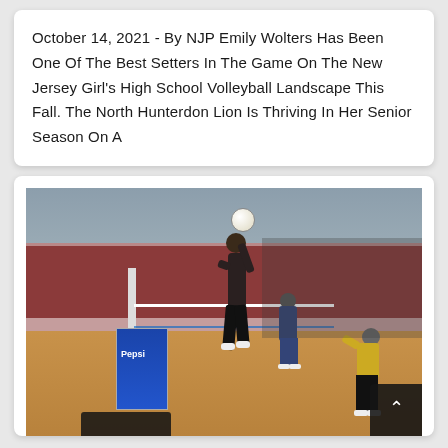October 14, 2021 - By NJP Emily Wolters Has Been One Of The Best Setters In The Game On The New Jersey Girl's High School Volleyball Landscape This Fall. The North Hunterdon Lion Is Thriving In Her Senior Season On A
[Figure (photo): Volleyball match photo showing a player jumping to spike or set the ball near the net in a gymnasium with red brick walls, a Pepsi banner, spectators in the bleachers, and players on both sides of the net. A scroll-to-top button is visible in the bottom right corner.]